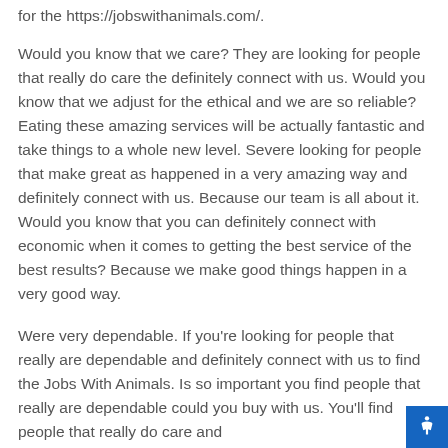for the https://jobswithanimals.com/.
Would you know that we care? They are looking for people that really do care the definitely connect with us. Would you know that we adjust for the ethical and we are so reliable? Eating these amazing services will be actually fantastic and take things to a whole new level. Severe looking for people that make great as happened in a very amazing way and definitely connect with us. Because our team is all about it. Would you know that you can definitely connect with economic when it comes to getting the best service of the best results? Because we make good things happen in a very good way.
Were very dependable. If you’re looking for people that really are dependable and definitely connect with us to find the Jobs With Animals. Is so important you find people that really are dependable could you buy with us. You’ll find people that really do care and